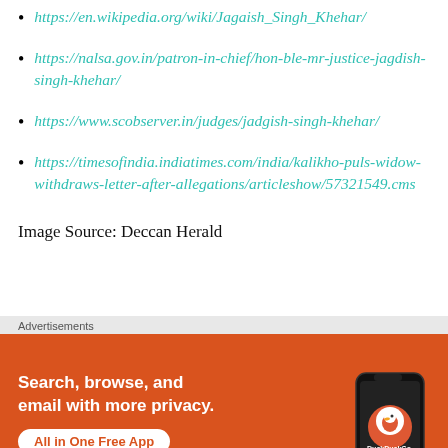https://en.wikipedia.org/wiki/Jagaish_Singh_Khehar/
https://nalsa.gov.in/patron-in-chief/hon-ble-mr-justice-jagdish-singh-khehar/
https://www.scobserver.in/judges/jadgish-singh-khehar/
https://timesofindia.indiatimes.com/india/kalikho-puls-widow-withdraws-letter-after-allegations/articleshow/57321549.cms
Image Source: Deccan Herald
Advertisements
[Figure (screenshot): DuckDuckGo advertisement banner with orange background showing 'Search, browse, and email with more privacy. All in One Free App' with a phone graphic and DuckDuckGo logo]